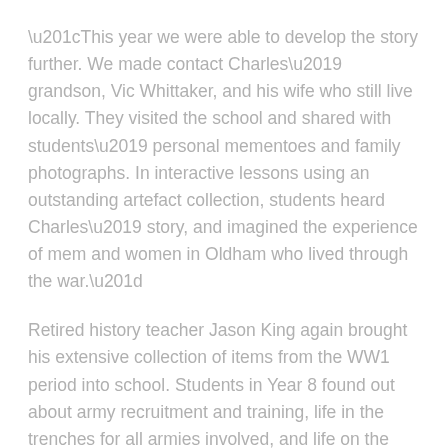“This year we were able to develop the story further. We made contact Charles’ grandson, Vic Whittaker, and his wife who still live locally. They visited the school and shared with students’ personal mementoes and family photographs. In interactive lessons using an outstanding artefact collection, students heard Charles’ story, and imagined the experience of mem and women in Oldham who lived through the war.”
Retired history teacher Jason King again brought his extensive collection of items from the WW1 period into school. Students in Year 8 found out about army recruitment and training, life in the trenches for all armies involved, and life on the home front.